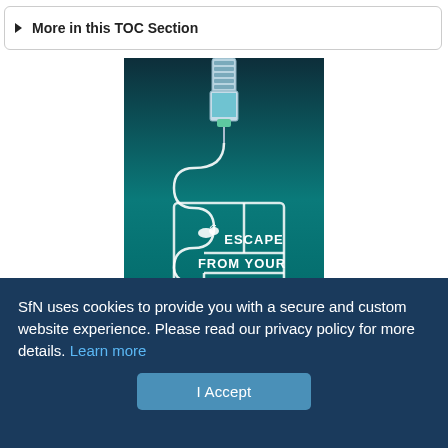▶ More in this TOC Section
[Figure (illustration): Scientific illustration showing a syringe connected by tubing to a maze-like pathway with a white mouse, and text reading ESCAPE FROM YOUR COMPLEX on a dark teal background]
SfN uses cookies to provide you with a secure and custom website experience. Please read our privacy policy for more details. Learn more
I Accept